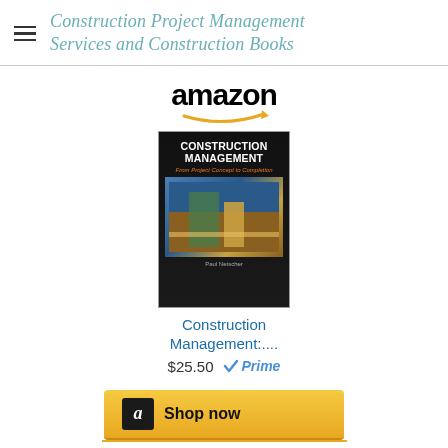Construction Project Management Services and Construction Books
[Figure (logo): Amazon logo with orange arrow]
[Figure (photo): Book cover: Construction Management by Paul Netscher]
Construction Management:....
$25.50 Prime
[Figure (other): Amazon Shop now button]
[Figure (logo): Amazon logo with orange arrow (second)]
[Figure (photo): Book cover: Construction Claims by Paul Netscher]